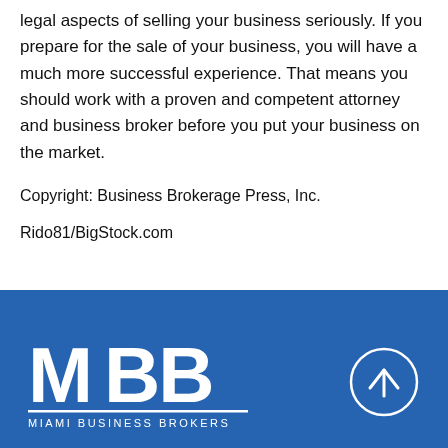legal aspects of selling your business seriously. If you prepare for the sale of your business, you will have a much more successful experience. That means you should work with a proven and competent attorney and business broker before you put your business on the market.
Copyright: Business Brokerage Press, Inc.
Rido81/BigStock.com
[Figure (logo): Miami Business Brokers (MBB) logo in white on blue background, with an upward arrow circle button on the right]